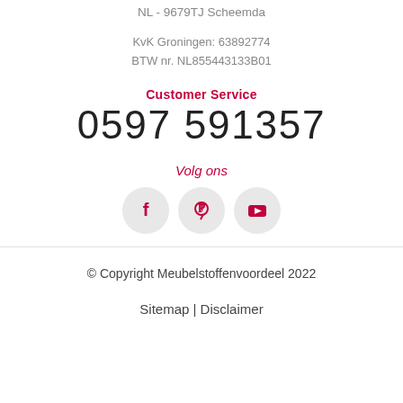NL - 9679TJ Scheemda
KvK Groningen: 63892774
BTW nr. NL855443133B01
Customer Service
0597 591357
Volg ons
[Figure (illustration): Three circular social media icons: Facebook, Pinterest, YouTube]
© Copyright Meubelstoffenvoordeel 2022
Sitemap | Disclaimer